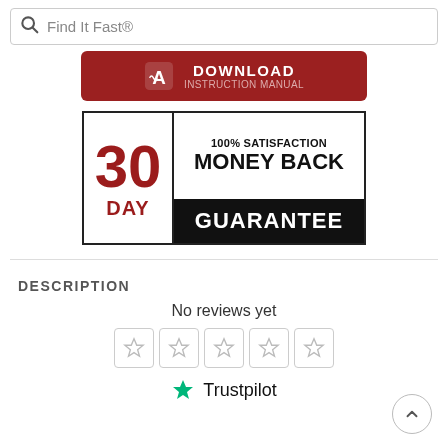Find It Fast®
[Figure (infographic): Download Instruction Manual button — red rounded rectangle with PDF icon and text DOWNLOAD / INSTRUCTION MANUAL]
[Figure (infographic): 30 DAY 100% SATISFACTION MONEY BACK GUARANTEE badge — bordered rectangle, left side with red 30 DAY text, right side with black/white MONEY BACK / GUARANTEE text]
DESCRIPTION
No reviews yet
[Figure (other): Five empty star rating boxes in a row (Trustpilot style)]
[Figure (logo): Trustpilot logo — green star followed by Trustpilot text]